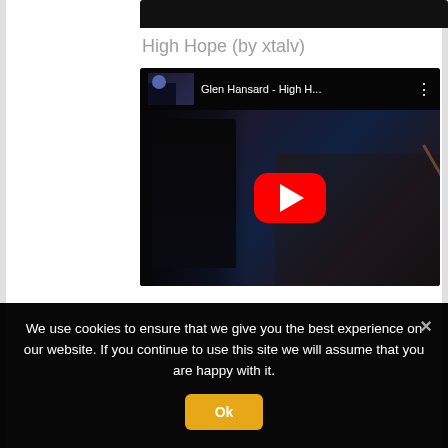[Figure (screenshot): Partial top of a previous embedded YouTube video player, showing black background cropped at top of page]
High Hope (by xtalv)
[Figure (screenshot): Embedded YouTube video thumbnail for 'Glen Hansard - High H...' showing two musicians performing on stage in dark/concert lighting, with a large red YouTube play button overlay in center. Top bar shows video title and three-dot menu.]
We use cookies to ensure that we give you the best experience on our website. If you continue to use this site we will assume that you are happy with it.
Ok